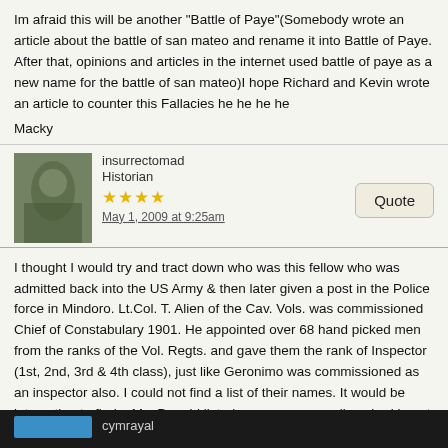Im afraid this will be another "Battle of Paye"(Somebody wrote an article about the battle of san mateo and rename it into Battle of Paye. After that, opinions and articles in the internet used battle of paye as a new name for the battle of san mateo)I hope Richard and Kevin wrote an article to counter this Fallacies he he he he
Macky
insurrectomad
Historian
★★★★
May 1, 2009 at 9:25am
Quote
I thought I would try and tract down who was this fellow who was admitted back into the US Army & then later given a post in the Police force in Mindoro. Lt.Col. T. Alien of the Cav. Vols. was commissioned Chief of Constabulary 1901. He appointed over 68 hand picked men from the ranks of the Vol. Regts. and gave them the rank of Inspector (1st, 2nd, 3rd & 4th class), just like Geronimo was commissioned as an inspector also. I could not find a list of their names. It would be interesting to find a MacDonald listed as a passenger disembarking at Manila from a ship arriving from S. Africa or H.K. during 1897-1899 wouldn't it?
cymrayal